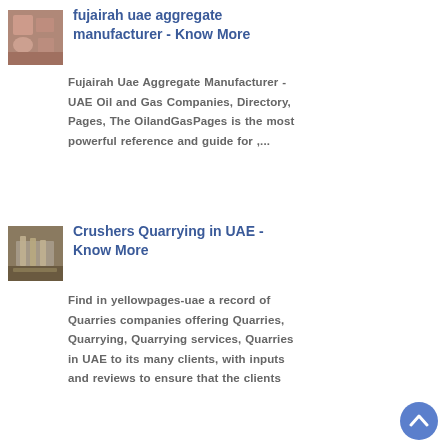[Figure (photo): Thumbnail image of industrial/cooking equipment - reddish/warm toned]
fujairah uae aggregate manufacturer - Know More
Fujairah Uae Aggregate Manufacturer - UAE Oil and Gas Companies, Directory, Pages, The OilandGasPages is the most powerful reference and guide for ,...
[Figure (photo): Thumbnail image of industrial quarry/crusher structure against red/brown landscape]
Crushers Quarrying in UAE - Know More
Find in yellowpages-uae a record of Quarries companies offering Quarries, Quarrying, Quarrying services, Quarries in UAE to its many clients, with inputs and reviews to ensure that the clients